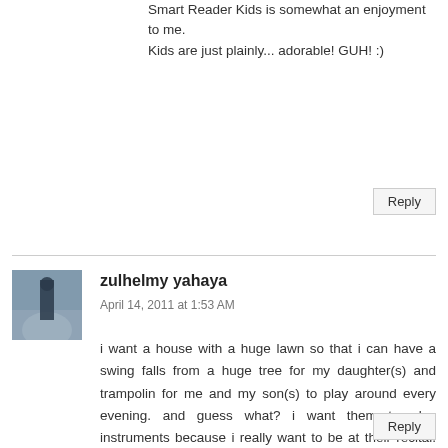Smart Reader Kids is somewhat an enjoyment to me.
Kids are just plainly... adorable! GUH! :)
Reply
zulhelmy yahaya
April 14, 2011 at 1:53 AM
i want a house with a huge lawn so that i can have a swing falls from a huge tree for my daughter(s) and trampolin for me and my son(s) to play around every evening. and guess what? i want them to play instruments because i really want to be at their recital. hahaha.
Reply